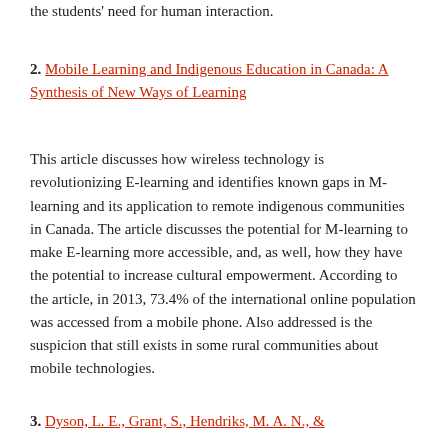the students' need for human interaction.
2. Mobile Learning and Indigenous Education in Canada: A Synthesis of New Ways of Learning
This article discusses how wireless technology is revolutionizing E-learning and identifies known gaps in M-learning and its application to remote indigenous communities in Canada. The article discusses the potential for M-learning to make E-learning more accessible, and, as well, how they have the potential to increase cultural empowerment. According to the article, in 2013, 73.4% of the international online population was accessed from a mobile phone. Also addressed is the suspicion that still exists in some rural communities about mobile technologies.
3. Dyson, L. E., Grant, S., Hendriks, M. A. N., &